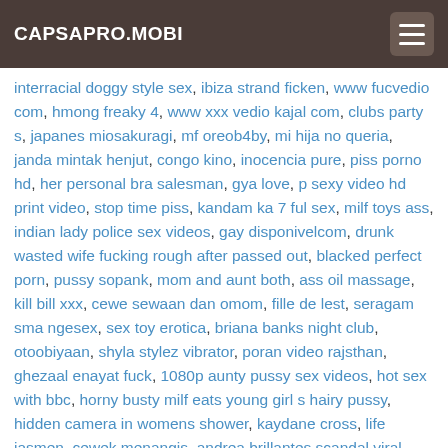CAPSAPRO.MOBI
interracial doggy style sex, ibiza strand ficken, www fucvedio com, hmong freaky 4, www xxx vedio kajal com, clubs party s, japanes miosakuragi, mf oreob4by, mi hija no queria, janda mintak henjut, congo kino, inocencia pure, piss porno hd, her personal bra salesman, gya love, p sexy video hd print video, stop time piss, kandam ka 7 ful sex, milf toys ass, indian lady police sex videos, gay disponivelcom, drunk wasted wife fucking rough after passed out, blacked perfect porn, pussy sopank, mom and aunt both, ass oil massage, kill bill xxx, cewe sewaan dan omom, fille de lest, seragam sma ngesex, sex toy erotica, briana banks night club, otoobiyaan, shyla stylez vibrator, poran video rajsthan, ghezaal enayat fuck, 1080p aunty pussy sex videos, hot sex with bbc, horny busty milf eats young girl s hairy pussy, hidden camera in womens shower, kaydane cross, life jasmen, cewek menangis, andrea brillantes scandal viral video, Hire sex Hindi